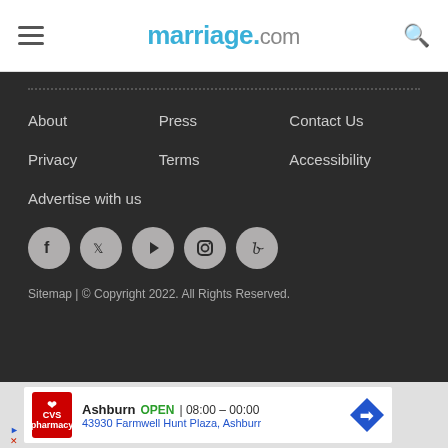marriage.com
About
Press
Contact Us
Privacy
Terms
Accessibility
Advertise with us
[Figure (infographic): Social media icons: Facebook, Twitter, YouTube/Play, Instagram, Pinterest]
Sitemap | © Copyright 2022. All Rights Reserved.
[Figure (infographic): CVS Pharmacy ad: Ashburn OPEN 08:00 - 00:00, 43930 Farmwell Hunt Plaza, Ashburn]